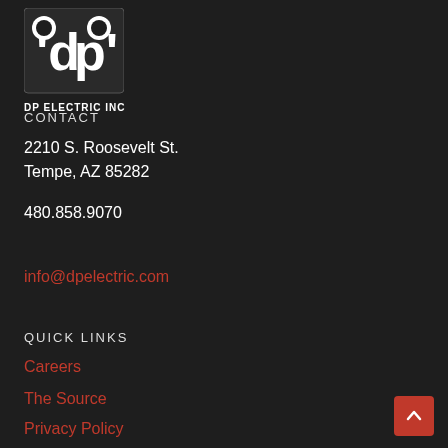[Figure (logo): DP Electric Inc logo — white stylized 'dp' letters in a square on dark background, with text 'DP ELECTRIC INC' below]
CONTACT
2210 S. Roosevelt St.
Tempe, AZ 85282
480.858.9070
info@dpelectric.com
QUICK LINKS
Careers
The Source
Privacy Policy